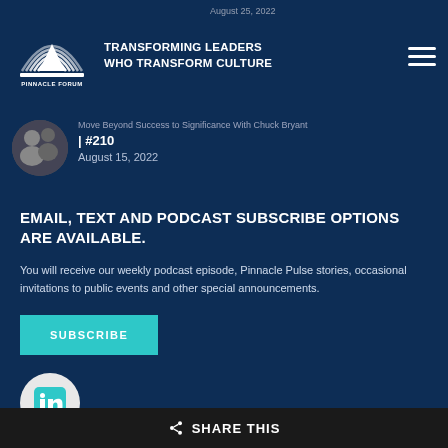TRANSFORMING LEADERS WHO TRANSFORM CULTURE
August 25, 2022
Move Beyond Success to Significance With Chuck Bryant | #210
August 15, 2022
EMAIL, TEXT AND PODCAST SUBSCRIBE OPTIONS ARE AVAILABLE.
You will receive our weekly podcast episode, Pinnacle Pulse stories, occasional invitations to public events and other special announcements.
SUBSCRIBE
[Figure (logo): LinkedIn logo icon in a light circle]
SHARE THIS